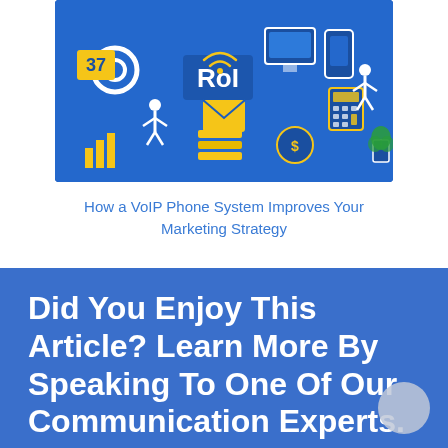[Figure (illustration): Isometric digital marketing and communication technology illustration on blue background. Shows icons including ROI text, gear, mobile phone, monitor, envelope, calculator, money bag, wifi symbol, person figures, and various tech elements in blue, yellow and white.]
How a VoIP Phone System Improves Your Marketing Strategy
Did You Enjoy This Article? Learn More By Speaking To One Of Our Communication Experts.